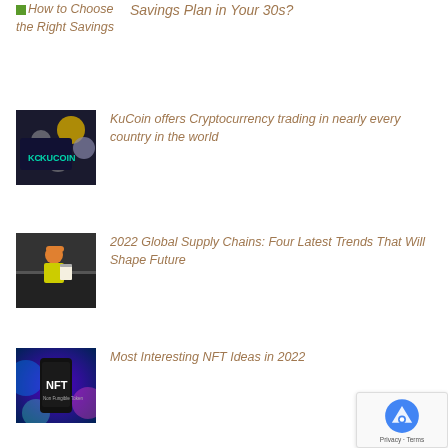How to Choose the Right Savings
Savings Plan in Your 30s?
[Figure (photo): KuCoin logo on a phone surrounded by crypto coins]
KuCoin offers Cryptocurrency trading in nearly every country in the world
[Figure (photo): Worker in orange hat and yellow vest reading a document in a warehouse]
2022 Global Supply Chains: Four Latest Trends That Will Shape Future
[Figure (photo): Smartphone showing NFT text against colorful digital background]
Most Interesting NFT Ideas in 2022